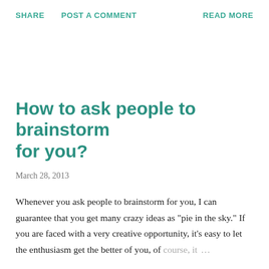SHARE   POST A COMMENT   READ MORE
How to ask people to brainstorm for you?
March 28, 2013
Whenever you ask people to brainstorm for you, I can guarantee that you get many crazy ideas as "pie in the sky." If you are faced with a very creative opportunity, it's easy to let the enthusiasm get the better of you, of course, it ...